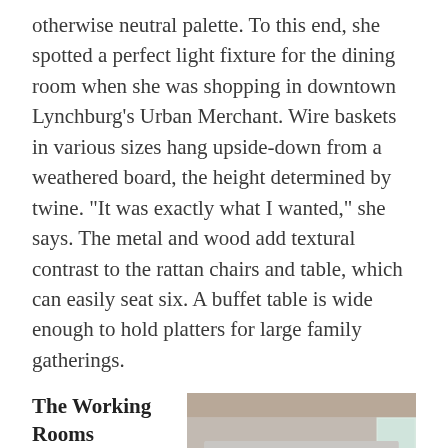otherwise neutral palette. To this end, she spotted a perfect light fixture for the dining room when she was shopping in downtown Lynchburg’s Urban Merchant. Wire baskets in various sizes hang upside-down from a weathered board, the height determined by twine. “It was exactly what I wanted,” she says. The metal and wood add textural contrast to the rattan chairs and table, which can easily seat six. A buffet table is wide enough to hold platters for large family gatherings.
The Working Rooms
Spaces that give Carrington a sense of
[Figure (photo): A wooden cabinet/bench unit with a vintage Ford truck tailgate mounted above it as a decorative piece. The tailgate is silver/grey with 'FORD' lettering. Below are four wooden cabinet doors with knobs. A cat is visible at the bottom left.]